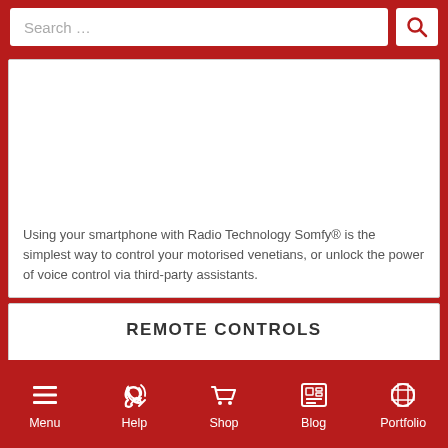Search …
[Figure (other): Empty white image area for smartphone/Radio Technology Somfy content]
Using your smartphone with Radio Technology Somfy® is the simplest way to control your motorised venetians, or unlock the power of voice control via third-party assistants.
REMOTE CONTROLS
Menu  Help  Shop  Blog  Portfolio